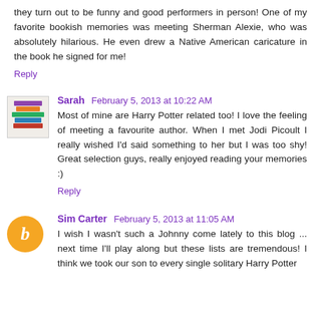they turn out to be funny and good performers in person! One of my favorite bookish memories was meeting Sherman Alexie, who was absolutely hilarious. He even drew a Native American caricature in the book he signed for me!
Reply
Sarah  February 5, 2013 at 10:22 AM
Most of mine are Harry Potter related too! I love the feeling of meeting a favourite author. When I met Jodi Picoult I really wished I'd said something to her but I was too shy! Great selection guys, really enjoyed reading your memories :)
Reply
Sim Carter  February 5, 2013 at 11:05 AM
I wish I wasn't such a Johnny come lately to this blog ... next time I'll play along but these lists are tremendous! I think we took our son to every single solitary Harry Potter